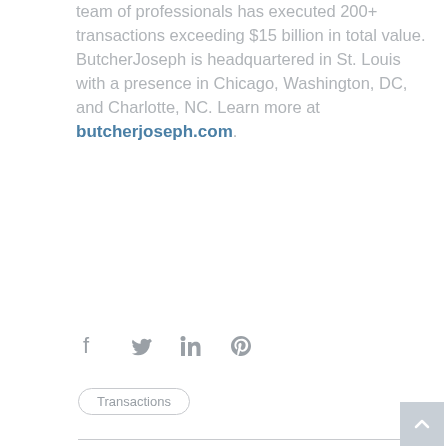team of professionals has executed 200+ transactions exceeding $15 billion in total value. ButcherJoseph is headquartered in St. Louis with a presence in Chicago, Washington, DC, and Charlotte, NC. Learn more at butcherjoseph.com.
[Figure (other): Social media share icons: Facebook, Twitter, LinkedIn, Pinterest]
Transactions